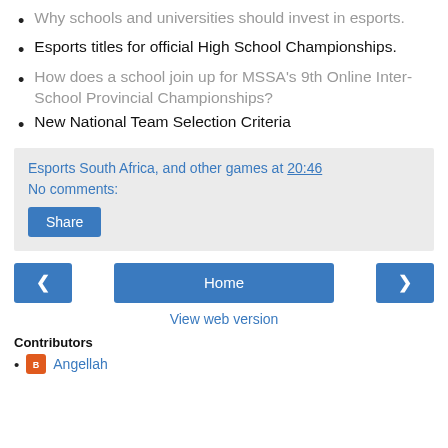Why schools and universities should invest in esports.
Esports titles for official High School Championships.
How does a school join up for MSSA's 9th Online Inter-School Provincial Championships?
New National Team Selection Criteria
Esports South Africa, and other games at 20:46
No comments:
Share
Home
View web version
Contributors
Angellah